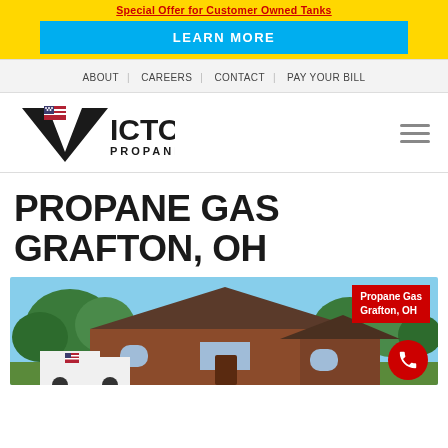Special Offer for Customer Owned Tanks
LEARN MORE
ABOUT | CAREERS | CONTACT | PAY YOUR BILL
[Figure (logo): Victory Propane logo with American flag on the V letter]
PROPANE GAS GRAFTON, OH
[Figure (photo): Brick house with propane delivery truck, red overlay label reading Propane Gas Grafton OH, red phone call button in bottom right]